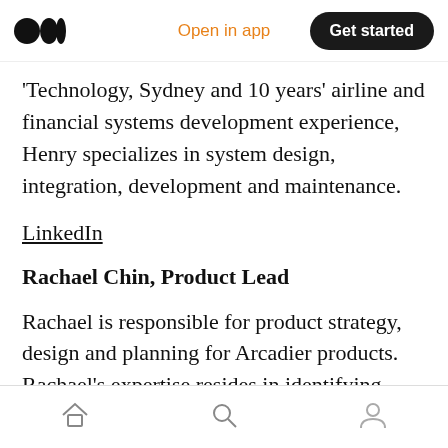Open in app | Get started
Technology, Sydney and 10 years' airline and financial systems development experience, Henry specializes in system design, integration, development and maintenance.
LinkedIn
Rachael Chin, Product Lead
Rachael is responsible for product strategy, design and planning for Arcadier products. Rachael's expertise resides in identifying customers' needs, monitoring competitors and
Home | Search | Profile